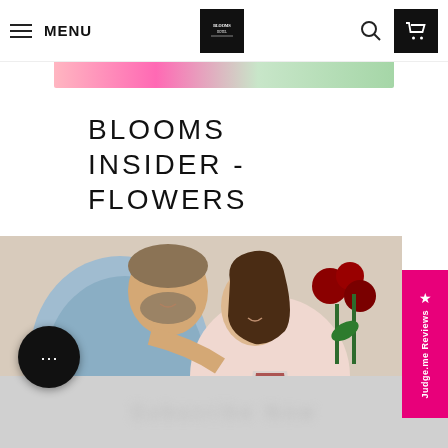MENU | BLOOMS HOTEL LOGO | search | cart
BLOOMS INSIDER - FLOWERS
[Figure (photo): Couple toasting with wine glasses, roses in background]
★ Judge.me Reviews
[Figure (other): Chat bubble with three dots, bottom navigation blurred]